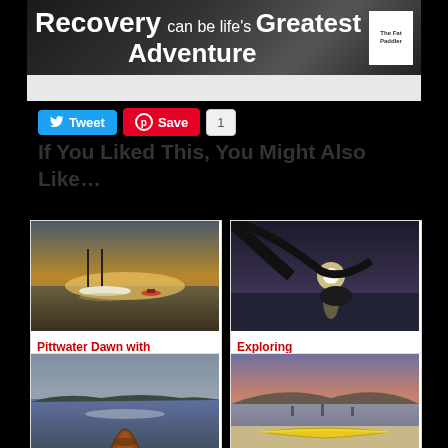[Figure (illustration): Banner advertisement: 'Recovery can be life's Greatest Adventure' with book cover image on dark background]
If You Liked This, You Might Also Like…
[Figure (photo): Pittwater Dawn – sailboat on calm water at sunrise with kayaker]
Pittwater Dawn with Global Paddler and
[Figure (photo): Exploring Pittwater's Western – silhouette of tree branch over water at dusk]
Exploring Pittwater's Western
[Figure (photo): View from kayak bow over calm water with islands in background]
[Figure (photo): Yellow kayak on sandy beach with boats and pink sunset sky]